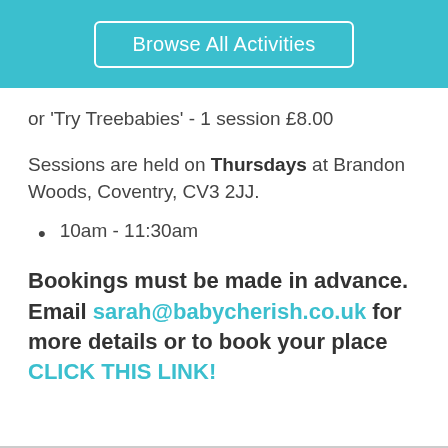Browse All Activities
or 'Try Treebabies' - 1 session £8.00
Sessions are held on Thursdays at Brandon Woods, Coventry, CV3 2JJ.
10am - 11:30am
Bookings must be made in advance. Email sarah@babycherish.co.uk for more details or to book your place CLICK THIS LINK!